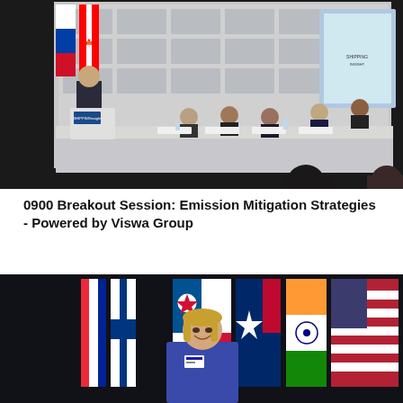[Figure (photo): Panel discussion at a ShippingInsight conference. Several panelists sit behind a long draped table with nameplates and microphones. Various international flags are displayed in the background including the flags of China, Bahamas, USA, and others. A ShippingInsight branded backdrop is visible. Two audience members are visible in the foreground. A presentation screen is partially visible on the right.]
0900 Breakout Session: Emission Mitigation Strategies - Powered by Viswa Group
[Figure (photo): A woman with blonde hair stands smiling in front of a row of international flags including flags of France/Monaco, Finland, Panama, Texas/Chile, India, and USA. She is wearing a blue outfit with a conference badge. The background is dark.]